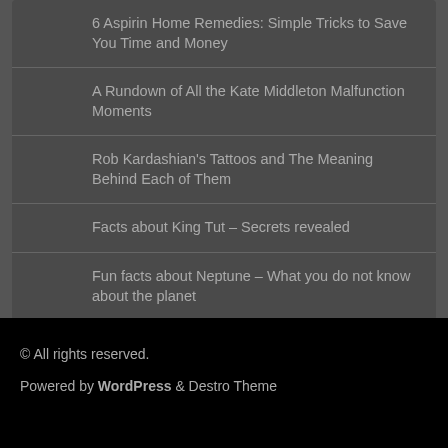6 Aspirin Home Remedies: Simple Tricks to Save You Time and Money
A Rundown of All the Kate Middleton Malfunction Moments
Rob Kardashian's Tattoos and The Meaning Behind Each of Them
Facts about King Tut – Secrets revealed
Fun facts about Neptune – What you do not know about the planet
© All rights reserved.
Powered by WordPress & Destro Theme